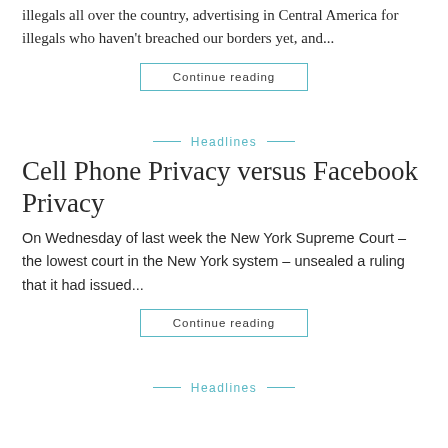illegals all over the country, advertising in Central America for illegals who haven't breached our borders yet, and...
Continue reading
Headlines
Cell Phone Privacy versus Facebook Privacy
On Wednesday of last week the New York Supreme Court – the lowest court in the New York system – unsealed a ruling that it had issued...
Continue reading
Headlines